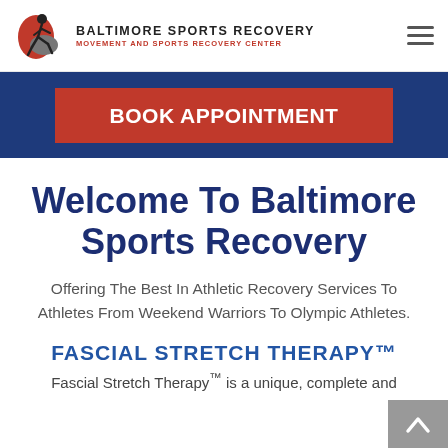Baltimore Sports Recovery — Movement and Sports Recovery Center
[Figure (logo): Baltimore Sports Recovery logo with a running athlete figure in red and grey, alongside the text 'Baltimore Sports Recovery' and 'Movement and Sports Recovery Center']
BOOK APPOINTMENT
Welcome To Baltimore Sports Recovery
Offering The Best In Athletic Recovery Services To Athletes From Weekend Warriors To Olympic Athletes.
FASCIAL STRETCH THERAPY™
Fascial Stretch Therapy™ is a unique, complete and